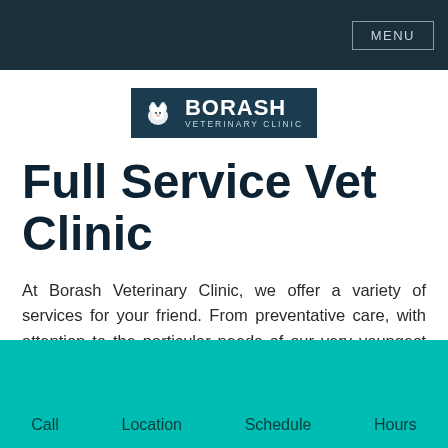MENU
[Figure (logo): Borash Veterinary Clinic logo: dark teal rectangle with white animal illustration on left and BORASH in large white bold text with VETERINARY CLINIC in smaller spaced text below]
Full Service Vet Clinic
At Borash Veterinary Clinic, we offer a variety of services for your friend. From preventative care, with attention to the particular needs of our very youngest and oldest patients, to diagnostic care and surgical interventions,
Call   Location   Schedule   Hours